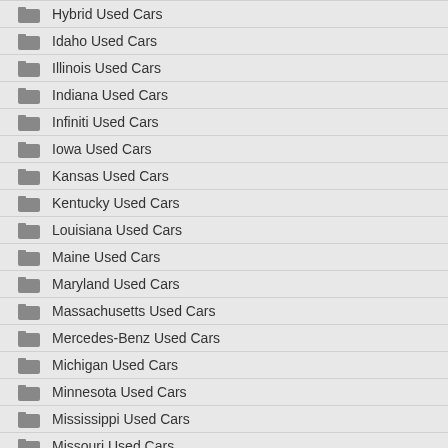Hybrid Used Cars
Idaho Used Cars
Illinois Used Cars
Indiana Used Cars
Infiniti Used Cars
Iowa Used Cars
Kansas Used Cars
Kentucky Used Cars
Louisiana Used Cars
Maine Used Cars
Maryland Used Cars
Massachusetts Used Cars
Mercedes-Benz Used Cars
Michigan Used Cars
Minnesota Used Cars
Mississippi Used Cars
Missouri Used Cars
Montana Used Cars
Nebraska Used Cars
Nevada Used Cars